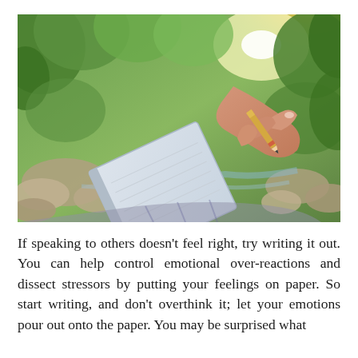[Figure (photo): A person's hand holding a pencil and writing in a notebook/journal, outdoors near a rocky stream with lush green trees and a warm golden sunlight in the background.]
If speaking to others doesn't feel right, try writing it out. You can help control emotional over-reactions and dissect stressors by putting your feelings on paper. So start writing, and don't overthink it; let your emotions pour out onto the paper. You may be surprised what